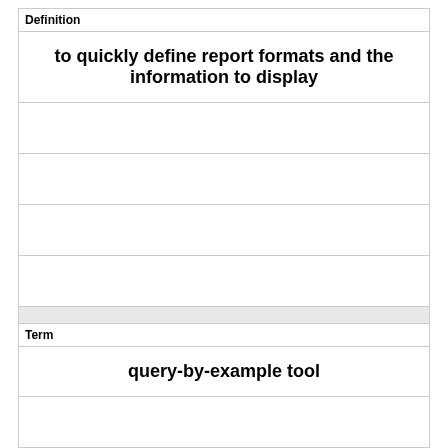| Definition |
| --- |
| to quickly define report formats and the information to display |
| Term |
| --- |
| query-by-example tool |